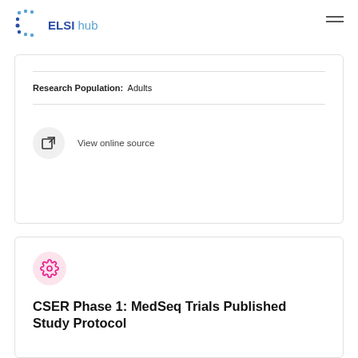ELSI hub
Research Population: Adults
View online source
[Figure (logo): Gear icon in pink circle]
CSER Phase 1: MedSeq Trials Published Study Protocol